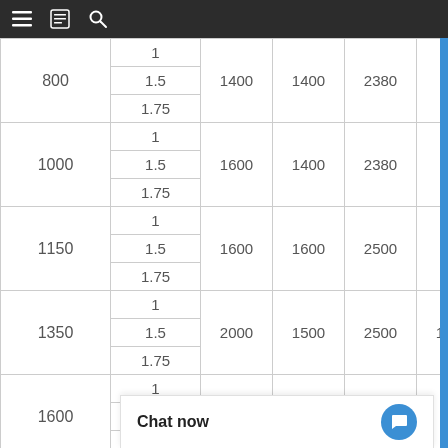| Col1 | Col2 | Col3 | Col4 | Col5 | Col6 |
| --- | --- | --- | --- | --- | --- |
| 800 | 1 | 1400 | 1400 | 2380 | 800 |
| 800 | 1.5 | 1400 | 1400 | 2380 | 800 |
| 800 | 1.75 | 1400 | 1400 | 2380 | 800 |
| 1000 | 1 | 1600 | 1400 | 2380 | 900 |
| 1000 | 1.5 | 1600 | 1400 | 2380 | 900 |
| 1000 | 1.75 | 1600 | 1400 | 2380 | 900 |
| 1150 | 1 | 1600 | 1600 | 2500 | 900 |
| 1150 | 1.5 | 1600 | 1600 | 2500 | 900 |
| 1150 | 1.75 | 1600 | 1600 | 2500 | 900 |
| 1350 | 1 | 2000 | 1500 | 2500 | 1100 |
| 1350 | 1.5 | 2000 | 1500 | 2500 | 1100 |
| 1350 | 1.75 | 2000 | 1500 | 2500 | 1100 |
| 1600 | 1 |  |  |  |  |
| 1600 | 1.5 |  |  |  |  |
| 1600 | 1.75 |  |  |  |  |